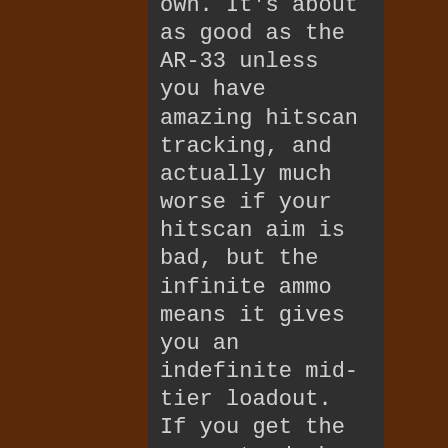own. It's about as good as the AR-33 unless you have amazing hitscan tracking, and actually much worse if your hitscan aim is bad, but the infinite ammo means it gives you an indefinite mid-tier loadout. If you get the guaranteed uber weapon switch it's usually worth it to switch though since all the other uber weapons are better than the laser and you probably won't live forever so